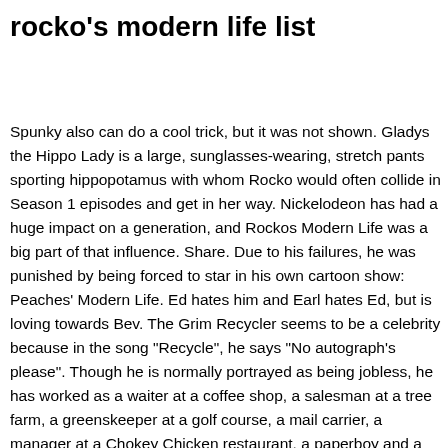rocko's modern life list
Spunky also can do a cool trick, but it was not shown. Gladys the Hippo Lady is a large, sunglasses-wearing, stretch pants sporting hippopotamus with whom Rocko would often collide in Season 1 episodes and get in her way. Nickelodeon has had a huge impact on a generation, and Rockos Modern Life was a big part of that influence. Share. Due to his failures, he was punished by being forced to star in his own cartoon show: Peaches' Modern Life. Ed hates him and Earl hates Ed, but is loving towards Bev. The Grim Recycler seems to be a celebrity because in the song "Recycle", he says "No autograph's please". Though he is normally portrayed as being jobless, he has worked as a waiter at a coffee shop, a salesman at a tree farm, a greenskeeper at a golf course, a mail carrier, a manager at a Chokey Chicken restaurant, a paperboy and a security guard at Conglom-O-Corp. As his family name suggests, he was raised by a family of wolves who decided not to eat him as a child and adopted him as one of their own; his "birthmark" is actually their plotting lines of how to best divide him up into choice dishes. The Widow Hutchison